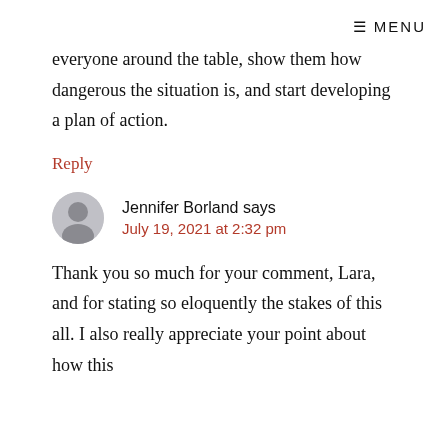☰ MENU
everyone around the table, show them how dangerous the situation is, and start developing a plan of action.
Reply
Jennifer Borland says
July 19, 2021 at 2:32 pm
Thank you so much for your comment, Lara, and for stating so eloquently the stakes of this all. I also really appreciate your point about how this